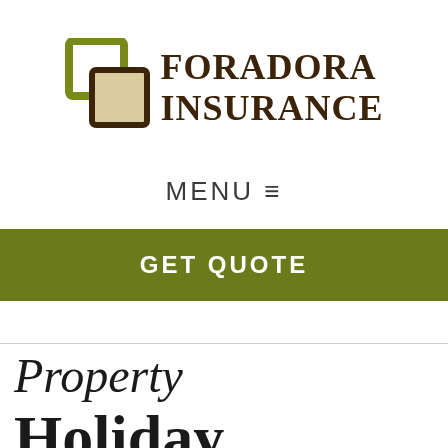[Figure (logo): Foradora Insurance logo with two overlapping square shapes (olive green outline and tan/cream filled) and bold dark brown text reading FORADORA INSURANCE]
MENU ☰
GET QUOTE
Holiday